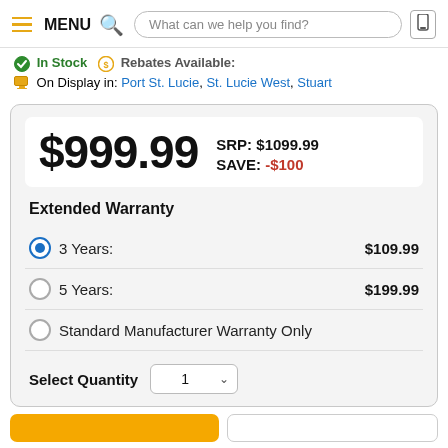MENU  [search icon] What can we help you find? [phone icon]
✓ In Stock  🏷 Rebates Available:
On Display in: Port St. Lucie, St. Lucie West, Stuart
$999.99  SRP: $1099.99  SAVE: -$100
Extended Warranty
3 Years:  $109.99
5 Years:  $199.99
Standard Manufacturer Warranty Only
Select Quantity  1 ∨